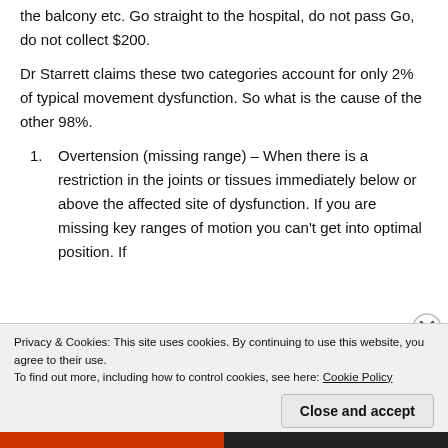the balcony etc. Go straight to the hospital, do not pass Go, do not collect $200.
Dr Starrett claims these two categories account for only 2% of typical movement dysfunction. So what is the cause of the other 98%.
1. Overtension (missing range) – When there is a restriction in the joints or tissues immediately below or above the affected site of dysfunction. If you are missing key ranges of motion you can't get into optimal position. If
Privacy & Cookies: This site uses cookies. By continuing to use this website, you agree to their use.
To find out more, including how to control cookies, see here: Cookie Policy
Close and accept